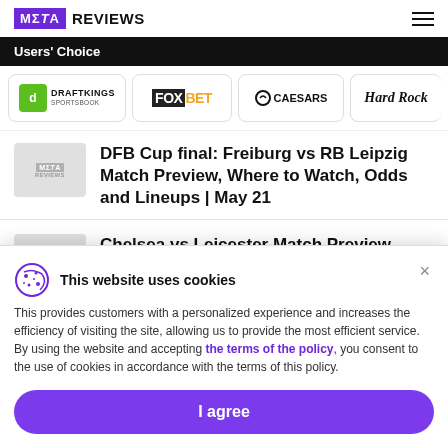META REVIEWS
Users' Choice
[Figure (logo): Sponsor logos: DraftKings Sportsbook, FoxBet, Caesars, Hard Rock]
[Figure (illustration): Meta Reviews thumbnail placeholder]
DFB Cup final: Freiburg vs RB Leipzig Match Preview, Where to Watch, Odds and Lineups | May 21
[Figure (illustration): Meta Reviews thumbnail placeholder]
Chelsea vs Leicester Match Preview, Where to Watch, Odds and Lineups |
This website uses cookies
This provides customers with a personalized experience and increases the efficiency of visiting the site, allowing us to provide the most efficient service. By using the website and accepting the terms of the policy, you consent to the use of cookies in accordance with the terms of this policy.
I agree